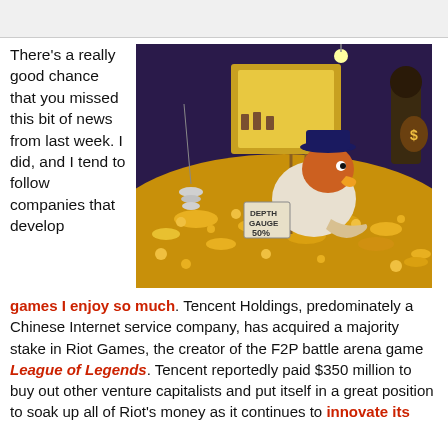There’s a really good chance that you missed this bit of news from last week. I did, and I tend to follow companies that develop games I enjoy so much. Tencent Holdings, predominately a Chinese Internet service company, has acquired a majority stake in Riot Games, the creator of the F2P battle arena game League of Legends. Tencent reportedly paid $350 million to buy out other venture capitalists and put itself in a great position to soak up all of Riot’s money as it continues to innovate its
[Figure (illustration): Scrooge McDuck-style cartoon character diving into a large pile of gold coins in a treasure vault, with a depth gauge sign reading 'DEPTH GAUGE 50%'. The vault has ladders, hanging jewelry, and dollar sign bags in the background.]